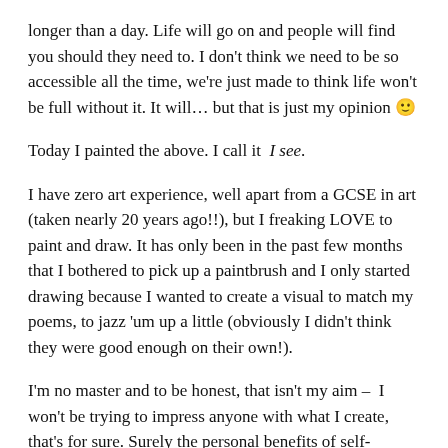longer than a day. Life will go on and people will find you should they need to. I don't think we need to be so accessible all the time, we're just made to think life won't be full without it. It will… but that is just my opinion 🙂
Today I painted the above. I call it  I see.
I have zero art experience, well apart from a GCSE in art (taken nearly 20 years ago!!), but I freaking LOVE to paint and draw. It has only been in the past few months that I bothered to pick up a paintbrush and I only started drawing because I wanted to create a visual to match my poems, to jazz 'um up a little (obviously I didn't think they were good enough on their own!).
I'm no master and to be honest, that isn't my aim –  I won't be trying to impress anyone with what I create, that's for sure. Surely the personal benefits of self-expression are more important than how 'accurate' or 'masterful' the painting is.
Also, what I love about painting is seeing the results of your labour